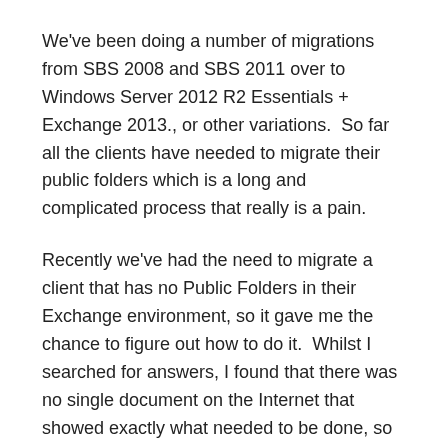We've been doing a number of migrations from SBS 2008 and SBS 2011 over to Windows Server 2012 R2 Essentials + Exchange 2013., or other variations.  So far all the clients have needed to migrate their public folders which is a long and complicated process that really is a pain.
Recently we've had the need to migrate a client that has no Public Folders in their Exchange environment, so it gave me the chance to figure out how to do it.  Whilst I searched for answers, I found that there was no single document on the Internet that showed exactly what needed to be done, so I've created one here.
Overview
Use this process if you wish to entirely remove the public